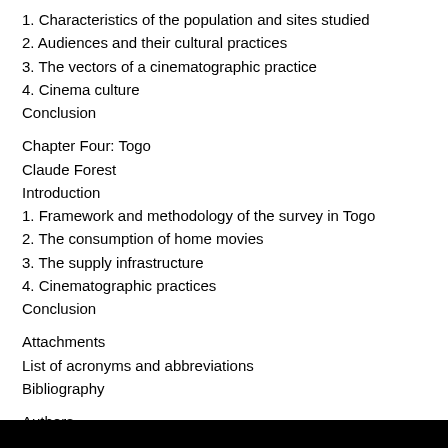1. Characteristics of the population and sites studied
2. Audiences and their cultural practices
3. The vectors of a cinematographic practice
4. Cinema culture
Conclusion
Chapter Four: Togo
Claude Forest
Introduction
1. Framework and methodology of the survey in Togo
2. The consumption of home movies
3. The supply infrastructure
4. Cinematographic practices
Conclusion
Attachments
List of acronyms and abbreviations
Bibliography
Authors